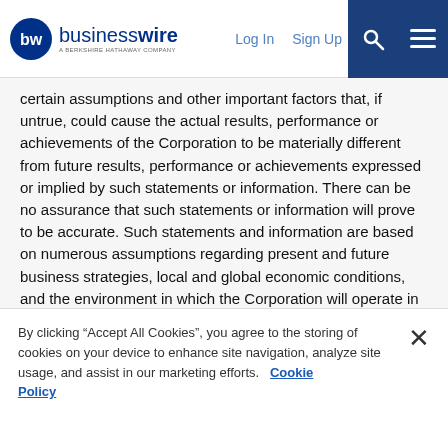businesswire — A BERKSHIRE HATHAWAY COMPANY | Log In | Sign Up
certain assumptions and other important factors that, if untrue, could cause the actual results, performance or achievements of the Corporation to be materially different from future results, performance or achievements expressed or implied by such statements or information. There can be no assurance that such statements or information will prove to be accurate. Such statements and information are based on numerous assumptions regarding present and future business strategies, local and global economic conditions, and the environment in which the Corporation will operate in the future, including: the possibility that the outcome of any arbitration proceedings relating to the Earn-in Agreement and the form of joint venture agreement appended to the Earn-in Agreement are materially adverse to the Corporation in the event that a negotiated resolution of the commercial disagreements with Entrée is not achieved; and the impact of such matters on the
By clicking “Accept All Cookies”, you agree to the storing of cookies on your device to enhance site navigation, analyze site usage, and assist in our marketing efforts.   Cookie Policy